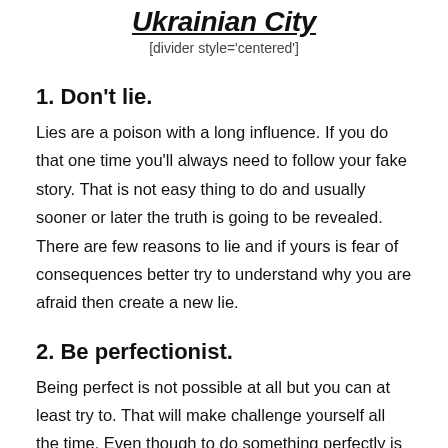Ukrainian City
[divider style='centered']
1. Don't lie.
Lies are a poison with a long influence. If you do that one time you'll always need to follow your fake story. That is not easy thing to do and usually sooner or later the truth is going to be revealed. There are few reasons to lie and if yours is fear of consequences better try to understand why you are afraid then create a new lie.
2. Be perfectionist.
Being perfect is not possible at all but you can at least try to. That will make challenge yourself all the time. Even though to do something perfectly is almost unreachable goal you should be sure that you have done everything